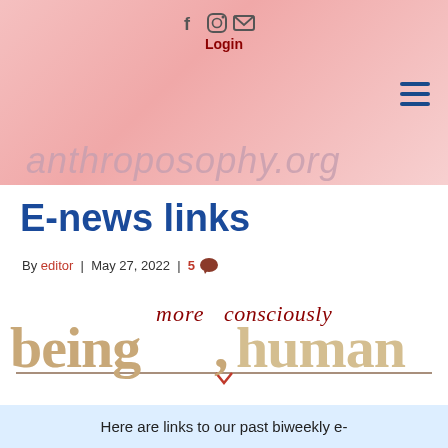f  [instagram]  [mail]  Login
[Figure (logo): anthroposophy.org logo with tagline 'Anthroposophical Society in America']
E-news links
By editor | May 27, 2022 | 5 [comments]
[Figure (illustration): Being Human logo: 'being human' in large tan/gold letters with 'more consciously' in italic dark red script above, decorative horizontal line below]
Here are links to our past biweekly e-